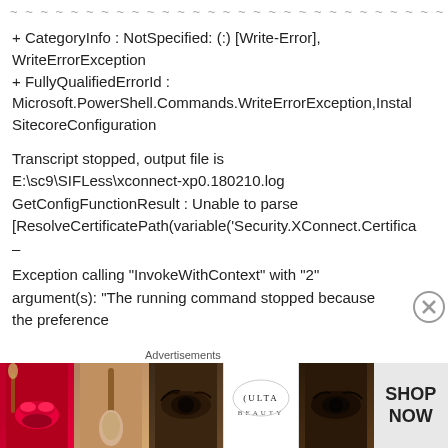~ ~ ~ ~ ~ ~ ~ ~ ~ ~ ~ ~ ~ ~ ~ ~ ~ ~ ~ ~ ~ ~ ~ ~ ~ ~ ~ ~ ~ ~ ~ ~ ~ ~ ~ ~ ~ ~ ~ ~ ~ ~
+ CategoryInfo : NotSpecified: (:) [Write-Error], WriteErrorException
+ FullyQualifiedErrorId : Microsoft.PowerShell.Commands.WriteErrorException,Install-SitecoreConfiguration
Transcript stopped, output file is E:\sc9\SIFLess\xconnect-xp0.180210.log
GetConfigFunctionResult : Unable to parse [ResolveCertificatePath(variable('Security.XConnect.Certifica
–
Exception calling "InvokeWithContext" with "2" argument(s): "The running command stopped because the preference
[Figure (photo): ULTA Beauty advertisement banner with makeup imagery (lips, brush, eyes) and SHOP NOW text]